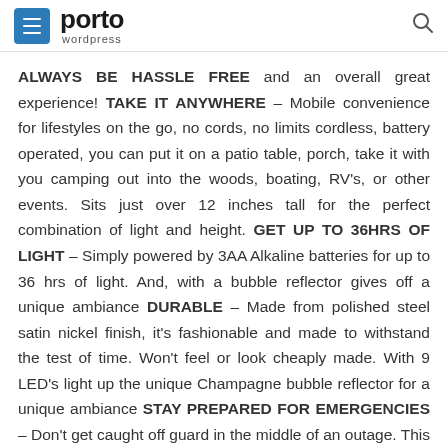porto wordpress
ALWAYS BE HASSLE FREE and an overall great experience! TAKE IT ANYWHERE – Mobile convenience for lifestyles on the go, no cords, no limits cordless, battery operated, you can put it on a patio table, porch, take it with you camping out into the woods, boating, RV's, or other events. Sits just over 12 inches tall for the perfect combination of light and height. GET UP TO 36HRS OF LIGHT – Simply powered by 3AA Alkaline batteries for up to 36 hrs of light. And, with a bubble reflector gives off a unique ambiance DURABLE – Made from polished steel satin nickel finish, it's fashionable and made to withstand the test of time. Won't feel or look cheaply made. With 9 LED's light up the unique Champagne bubble reflector for a unique ambiance STAY PREPARED FOR EMERGENCIES – Don't get caught off guard in the middle of an outage. This battery operated table